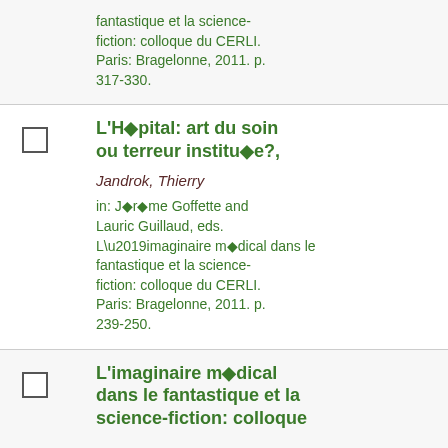fantastique et la science-fiction: colloque du CERLI. Paris: Bragelonne, 2011. p. 317-330.
L'H◆pital: art du soin ou terreur institu◆e?,

Jandrok, Thierry

in: J◆r◆me Goffette and Lauric Guillaud, eds. L’imaginaire m◆dical dans le fantastique et la science-fiction: colloque du CERLI. Paris: Bragelonne, 2011. p. 239-250.
L'imaginaire m◆dical dans le fantastique et la science-fiction: colloque